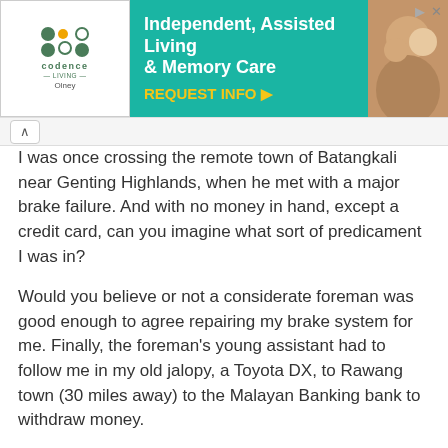[Figure (screenshot): Advertisement banner for Codence Living Olney — Independent, Assisted Living & Memory Care with REQUEST INFO button]
I was once crossing the remote town of Batangkali near Genting Highlands, when he met with a major brake failure. And with no money in hand, except a credit card, can you imagine what sort of predicament I was in?
Would you believe or not a considerate foreman was good enough to agree repairing my brake system for me. Finally, the foreman's young assistant had to follow me in my old jalopy, a Toyota DX, to Rawang town (30 miles away) to the Malayan Banking bank to withdraw money.
To the kind-heart mechanic, whose name I do not even know, thank you, sir. You certainly saved my day. This driving school instructor is indebted to you!